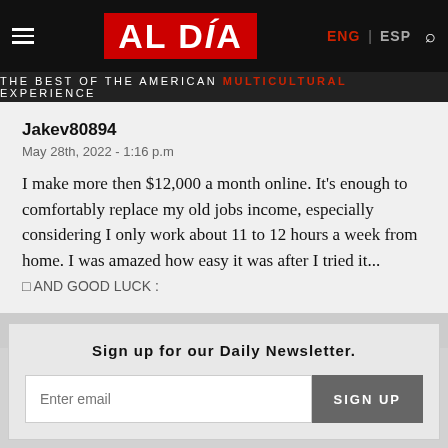AL DÍA — THE BEST OF THE AMERICAN MULTICULTURAL EXPERIENCE
Jakev80894
May 28th, 2022 - 1:16 p.m
I make more then $12,000 a month online. It's enough to comfortably replace my old jobs income, especially considering I only work about 11 to 12 hours a week from home. I was amazed how easy it was after I tried it... ☐ AND GOOD LUCK :
Sign up for our Daily Newsletter.